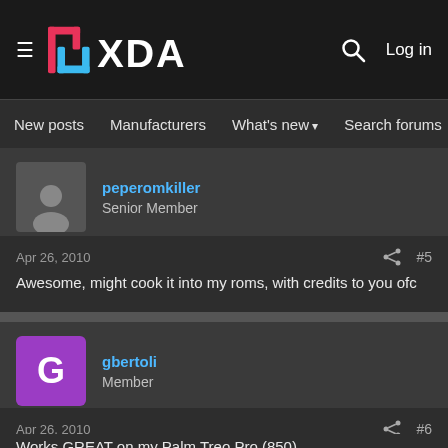XDA Forums header with navigation: New posts, Manufacturers, What's new, Search forums, Members
peperomkiller
Senior Member
Apr 26, 2010  #5
Awesome, might cook it into my roms, with credits to you ofc
gbertoli
Member
Apr 26, 2010  #6
Works GREAT on my Palm Treo Pro (850).